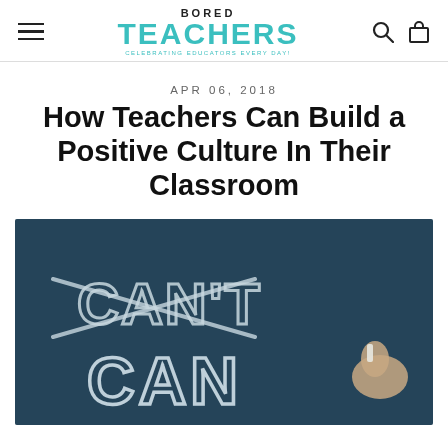Bored Teachers — Celebrating Educators Every Day!
APR 06, 2018
How Teachers Can Build a Positive Culture In Their Classroom
[Figure (photo): A hand writing on a chalkboard showing the word CAN'T with the apostrophe-T crossed out, leaving CAN written below in chalk lettering on a dark blue/teal chalkboard background.]